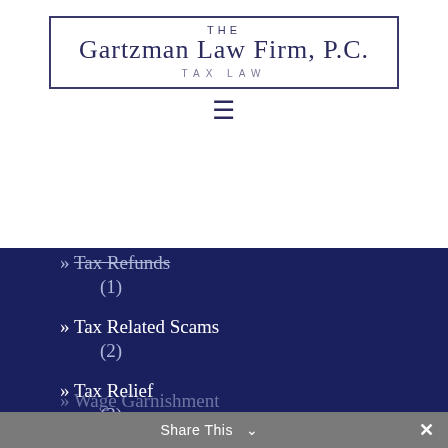[Figure (logo): The Gartzman Law Firm, P.C. Tax Law logo with border box]
» Tax Refunds (1)
» Tax Related Scams (2)
» Tax Relief (3)
» Tax Scams (1)
» Uncategorized (1)
» Wage Garnishment (...)
Share This ×